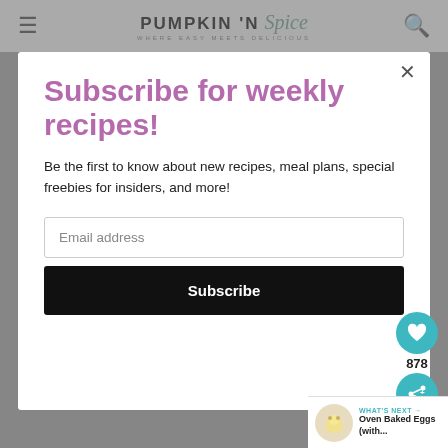PUMPKIN 'N Spice — WHERE EASY MEETS DELICIOUS
[Figure (screenshot): Website newsletter subscription modal popup with title 'Subscribe for weekly recipes!', body text, email address input field, and Subscribe button. FAB buttons for heart (878) and share visible on right side. Background shows blurred website content.]
Subscribe for weekly recipes!
Be the first to know about new recipes, meal plans, special freebies for insiders, and more!
Email address
Subscribe
878
WHAT'S NEXT → Oven Baked Eggs (with...